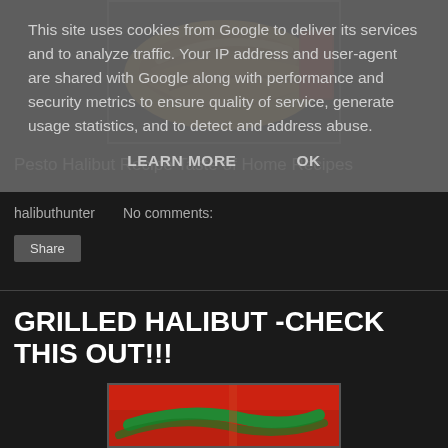This site uses cookies from Google to deliver its services and to analyze traffic. Your IP address and user-agent are shared with Google along with performance and security metrics to ensure quality of service, generate usage statistics, and to detect and address abuse.
LEARN MORE   OK
[Figure (photo): Close-up photo of a halibut dish with bread and garnishes]
Pesto Halibut Recipe Taste of Home Recipes
halibuthunter    No comments:
Share
GRILLED HALIBUT -CHECK THIS OUT!!!
[Figure (photo): Photo of grilled halibut with red and green garnish]